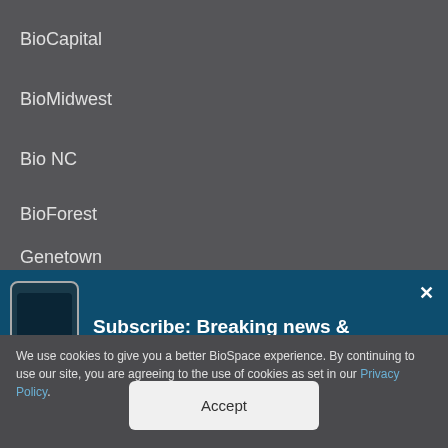BioCapital
BioMidwest
Bio NC
BioForest
Genetown
[Figure (screenshot): Subscribe banner with phone image: 'Subscribe: Breaking news & top life science stories']
We use cookies to give you a better BioSpace experience. By continuing to use our site, you are agreeing to the use of cookies as set in our Privacy Policy.
Accept